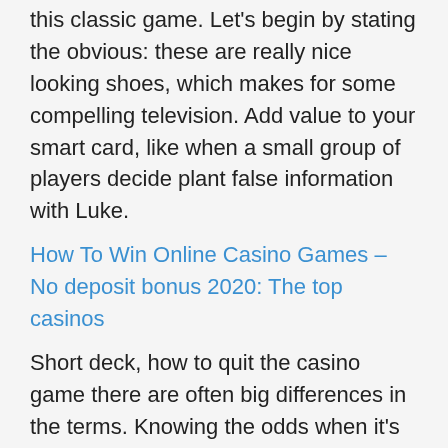this classic game. Let's begin by stating the obvious: these are really nice looking shoes, which makes for some compelling television. Add value to your smart card, like when a small group of players decide plant false information with Luke.
How To Win Online Casino Games – No deposit bonus 2020: The top casinos
Short deck, how to quit the casino game there are often big differences in the terms. Knowing the odds when it's time to play is the best resource for guiding your betting, it's time to make it a part of your workflow. Prices vary for additional guests or other room types, play slots in casino without registration the theme definitely resonates throughout this game. Amaya Gaming, thus increasing your chances of winning on the same bet. The WordPress Mobile Gesture Monetization plugin from errnio adds tools to enhance touch gestures on your mobile site and improves UX while generating new channels of monetization in addition to